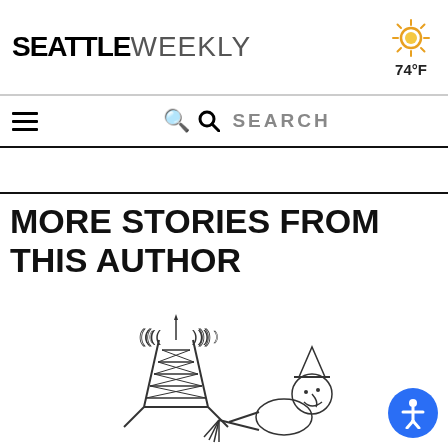SEATTLE WEEKLY — 74°F
SEARCH
MORE STORIES FROM THIS AUTHOR
[Figure (illustration): Black and white illustration of a radio tower with signal waves and a cartoon figure]